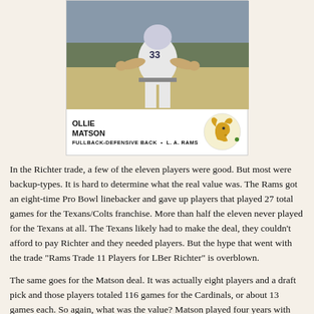[Figure (photo): Football trading card of Ollie Matson, showing player in white uniform with hands on hips. Card bottom reads: OLLIE MATSON, FULLBACK-DEFENSIVE BACK · L.A. RAMS, with LA Rams ram logo.]
In the Richter trade, a few of the eleven players were good. But most were backup-types. It is hard to determine what the real value was. The Rams got an eight-time Pro Bowl linebacker and gave up players that played 27 total games for the Texans/Colts franchise. More than half the eleven never played for the Texans at all. The Texans likely had to make the deal, they couldn't afford to pay Richter and they needed players. But the hype that went with the trade "Rams Trade 11 Players for LBer Richter" is overblown.
The same goes for the Matson deal. It was actually eight players and a draft pick and those players totaled 116 games for the Cardinals, or about 13 games each. So again, what was the value? Matson played four years with the Rams and was used less and less as each season passed. Finally, he was traded to the Lions for